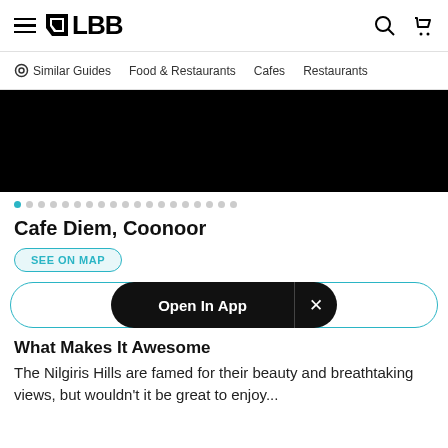LBB
Similar Guides  Food & Restaurants  Cafes  Restaurants
[Figure (photo): Black hero image area for Cafe Diem, Coonoor]
Carousel dots indicator (1 active, multiple inactive dots)
Cafe Diem, Coonoor
SEE ON MAP
CALL (+919662840620)
Open In App
What Makes It Awesome
The Nilgiris Hills are famed for their beauty and breathtaking views, but wouldn't it be great to enjoy...